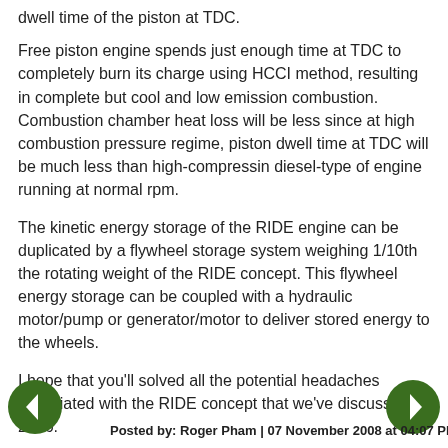dwell time of the piston at TDC.
Free piston engine spends just enough time at TDC to completely burn its charge using HCCI method, resulting in complete but cool and low emission combustion. Combustion chamber heat loss will be less since at high combustion pressure regime, piston dwell time at TDC will be much less than high-compressin diesel-type of engine running at normal rpm.
The kinetic energy storage of the RIDE engine can be duplicated by a flywheel storage system weighing 1/10th the rotating weight of the RIDE concept. This flywheel energy storage can be coupled with a hydraulic motor/pump or generator/motor to deliver stored energy to the wheels.
I hope that you'll solved all the potential headaches associated with the RIDE concept that we've discussed in 2006.
Posted by: Roger Pham | 07 November 2008 at 04:07 PM